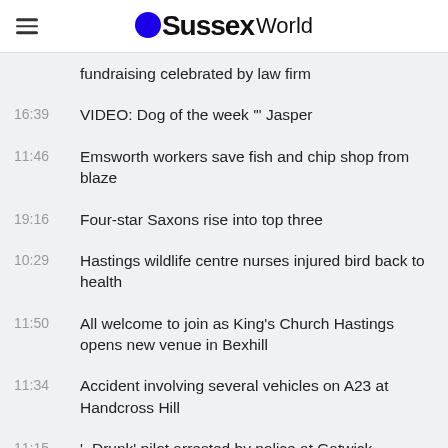SussexWorld
fundraising celebrated by law firm
16:39 VIDEO: Dog of the week '" Jasper
11:46 Emsworth workers save fish and chip shop from blaze
19:16 Four-star Saxons rise into top three
10:29 Hastings wildlife centre nurses injured bird back to health
11:50 All welcome to join as King's Church Hastings opens new venue in Bexhill
11:34 Accident involving several vehicles on A23 at Handcross Hill
11:15 '~Drunk' pilot arrested by police at Gatwick
15:45 UPDATE: Collision closes part of road near